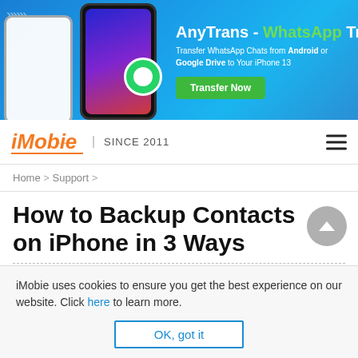[Figure (infographic): AnyTrans WhatsApp Transfer advertisement banner with phone images and green Transfer Now button]
iMobie | SINCE 2011
Home > Support >
How to Backup Contacts on iPhone in 3 Ways
iMobie uses cookies to ensure you get the best experience on our website. Click here to learn more.
OK, got it